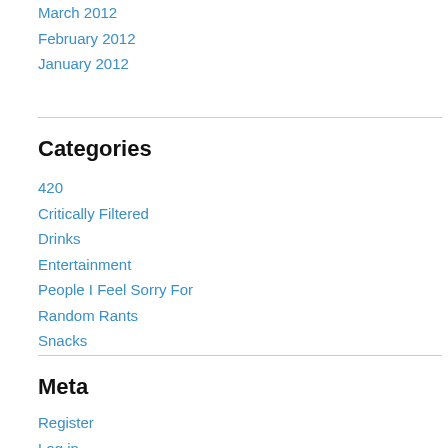March 2012
February 2012
January 2012
Categories
420
Critically Filtered
Drinks
Entertainment
People I Feel Sorry For
Random Rants
Snacks
Meta
Register
Log in
Entries feed